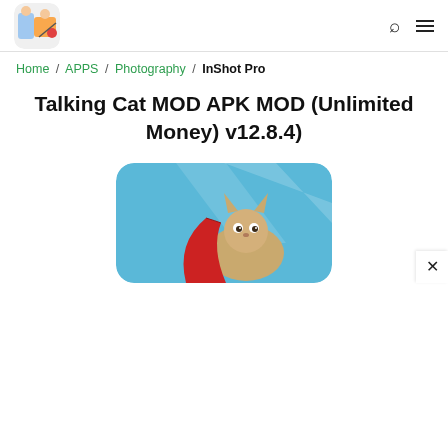[Figure (logo): Site logo: colorful cartoon characters (people and items) on a white rounded square background]
Home / APPS / Photography / InShot Pro
Talking Cat MOD APK MOD (Unlimited Money) v12.8.4)
[Figure (screenshot): App screenshot showing a cartoon cat character with a red cape on a light blue background, partial view cut at bottom]